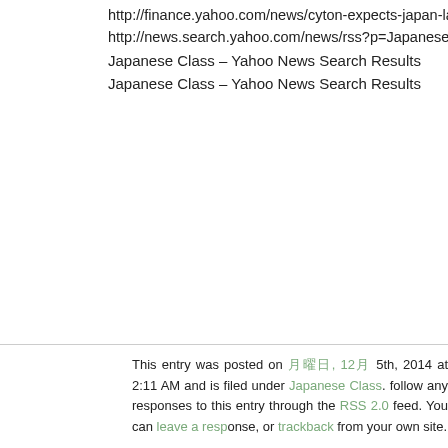http://finance.yahoo.com/news/cyton-expects-japan-laws-boost-130000000...
http://news.search.yahoo.com/news/rss?p=Japanese%20Class
Japanese Class – Yahoo News Search Results
Japanese Class – Yahoo News Search Results
This entry was posted on 月曜日, 12月 5th, 2014 at 2:11 AM and is filed under Japanese Class. follow any responses to this entry through the RSS 2.0 feed. You can leave a response, or trackback from your own site.